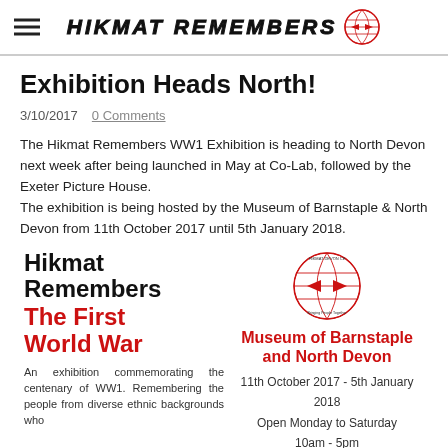HIKMAT REMEMBERS
Exhibition Heads North!
3/10/2017   0 Comments
The Hikmat Remembers WW1 Exhibition is heading to North Devon next week after being launched in May at Co-Lab, followed by the Exeter Picture House.
The exhibition is being hosted by the Museum of Barnstaple & North Devon from 11th October 2017 until 5th January 2018.
[Figure (infographic): Exhibition flyer showing 'Hikmat Remembers The First World War' in black and red bold text on left, logo circle top right, Museum of Barnstaple and North Devon in red bold text, dates 11th October 2017 - 5th January 2018, Open Monday to Saturday 10am-5pm, Admission Free in red]
An exhibition commemorating the centenary of WW1. Remembering the people from diverse ethnic backgrounds who